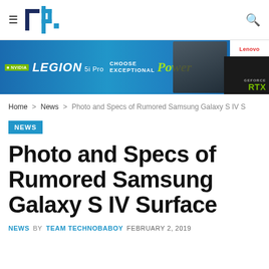tb — Technobaboy
[Figure (other): Lenovo Legion 5i Pro advertisement banner with NVIDIA and GeForce RTX branding, blue background with laptop image]
Home > News > Photo and Specs of Rumored Samsung Galaxy S IV S
NEWS
Photo and Specs of Rumored Samsung Galaxy S IV Surface
NEWS BY TEAM TECHNOBABOY FEBRUARY 2, 2019